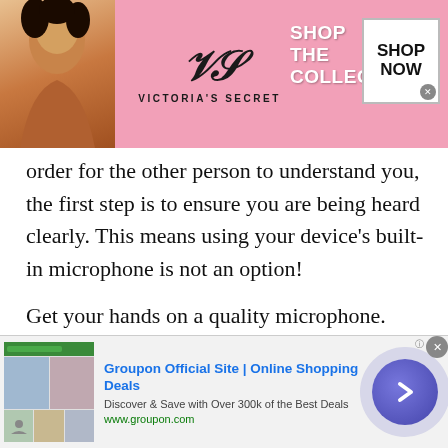[Figure (screenshot): Victoria's Secret advertisement banner with pink background, model on left, VS logo in center, 'SHOP THE COLLECTION' text, and 'SHOP NOW' button on right]
order for the other person to understand you, the first step is to ensure you are being heard clearly. This means using your device's built- in microphone is not an option!
Get your hands on a quality microphone. Make sure you research about the types of microphones that you can use. There is a variety of mics out there including handheld mics, wireless mics, lavalier mics, and much more. each differs according to sound quality and its ability to pick up noise. Most mics pick up background noise which can be a huge turnoff when communicating with someone on a
[Figure (screenshot): Groupon Official Site advertisement banner. Shows 'Groupon Official Site | Online Shopping Deals', 'Discover & Save with Over 300k of the Best Deals', 'www.groupon.com', with thumbnail images and a navigation arrow button]